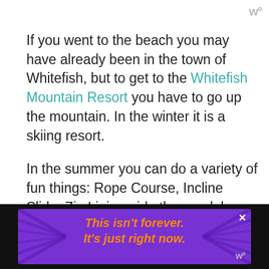w°
If you went to the beach you may have already been in the town of Whitefish, but to get to the Whitefish Mountain Resort you have to go up the mountain. In the winter it is a skiing resort.

In the summer you can do a variety of fun things: Rope Course, Incline Slide, Zip Lining, ride the gondola, mountain biking or take the ski lift up. They also have a blow up climbing thing that is great for younger kids.
[Figure (screenshot): What's Next box showing '31 Best Things To D...' with a small circular boat photo]
[Figure (screenshot): Ad banner with purple background and orange italic text: This isn't forever. It's just right now.]